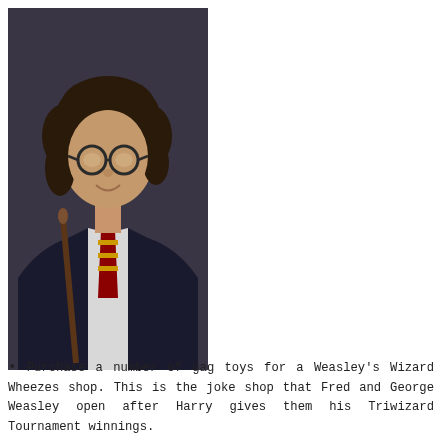[Figure (photo): Person dressed in Harry Potter costume wearing round glasses, dark blazer with Gryffindor tie, holding a wand, with curly hair]
Purchase a number of gag toys for a Weasley's Wizard Wheezes shop. This is the joke shop that Fred and George Weasley open after Harry gives them his Triwizard Tournament winnings.
Include miscellaneous props like Harry-inspired glasses, golden snitches, brooms (spray painted to look like Nimbus 2000).
Send out photos and a party recap in the form of The Daily Prophet.